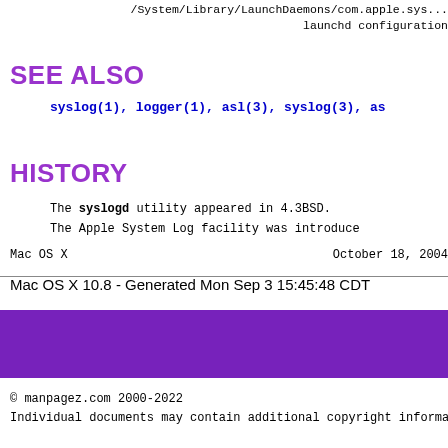/System/Library/LaunchDaemons/com.apple.sys...
                                    launchd configuration
SEE ALSO
syslog(1), logger(1), asl(3), syslog(3), as...
HISTORY
The syslogd utility appeared in 4.3BSD.
The Apple System Log facility was introduce...
Mac OS X                                        October 18, 2004
Mac OS X 10.8 - Generated Mon Sep 3 15:45:48 CDT
[Figure (other): Purple decorative bar]
© manpagez.com 2000-2022
Individual documents may contain additional copyright informa...